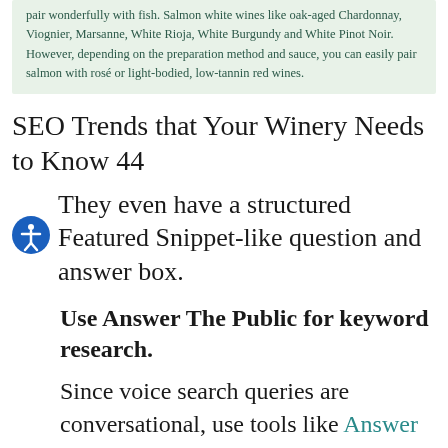pair wonderfully with fish. Salmon white wines like oak-aged Chardonnay, Viognier, Marsanne, White Rioja, White Burgundy and White Pinot Noir. However, depending on the preparation method and sauce, you can easily pair salmon with rosé or light-bodied, low-tannin red wines.
SEO Trends that Your Winery Needs to Know 44
They even have a structured Featured Snippet-like question and answer box.
Use Answer The Public for keyword research.
Since voice search queries are conversational, use tools like Answer The Public to find the most common queries